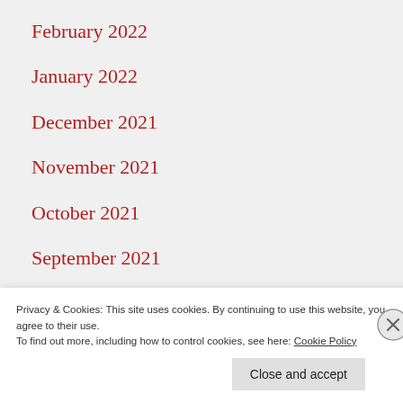February 2022
January 2022
December 2021
November 2021
October 2021
September 2021
May 2021
February 2021
January 2021
December 2020
Privacy & Cookies: This site uses cookies. By continuing to use this website, you agree to their use.
To find out more, including how to control cookies, see here: Cookie Policy
Close and accept